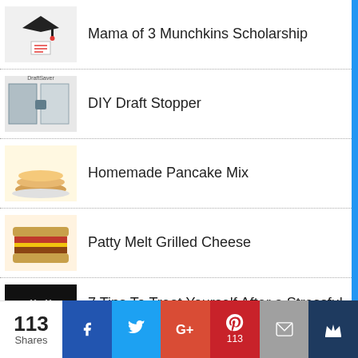Mama of 3 Munchkins Scholarship
DIY Draft Stopper
Homemade Pancake Mix
Patty Melt Grilled Cheese
7 Tips To Treat Yourself After a Stressful Time
Starting a Wedding Venue Business: 6 Steps for a Huge Profit
113 Shares | Facebook | Twitter | Google+ | Pinterest 113 | Email | Crown